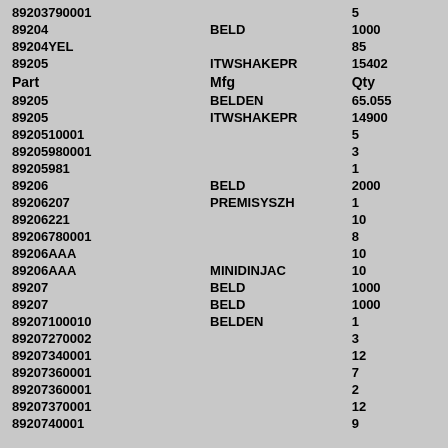| Part | Mfg | Qty |
| --- | --- | --- |
| 89203790001 |  | 5 |
| 89204 | BELD | 1000 |
| 89204YEL |  | 85 |
| 89205 | ITWSHAKEPR | 15402 |
| Part | Mfg | Qty |
| 89205 | BELDEN | 65.055 |
| 89205 | ITWSHAKEPR | 14900 |
| 8920510001 |  | 5 |
| 89205980001 |  | 3 |
| 89205981 |  | 1 |
| 89206 | BELD | 2000 |
| 89206207 | PREMISYSZH | 1 |
| 89206221 |  | 10 |
| 89206780001 |  | 8 |
| 89206AAA |  | 10 |
| 89206AAA | MINIDINJAC | 10 |
| 89207 | BELD | 1000 |
| 89207 | BELD | 1000 |
| 89207100010 | BELDEN | 1 |
| 89207270002 |  | 3 |
| 89207340001 |  | 12 |
| 89207360001 |  | 7 |
| 89207360001 |  | 2 |
| 89207370001 |  | 12 |
| 8920740001 |  | 9 |